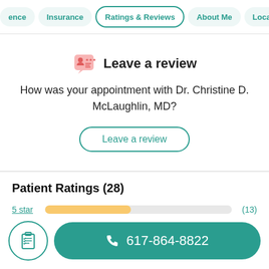ence | Insurance | Ratings & Reviews | About Me | Locations
[Figure (illustration): Review icon: person with star rating clipboard badge in pink/red tones]
Leave a review
How was your appointment with Dr. Christine D. McLaughlin, MD?
Leave a review
Patient Ratings (28)
5 star (13)
617-864-8822